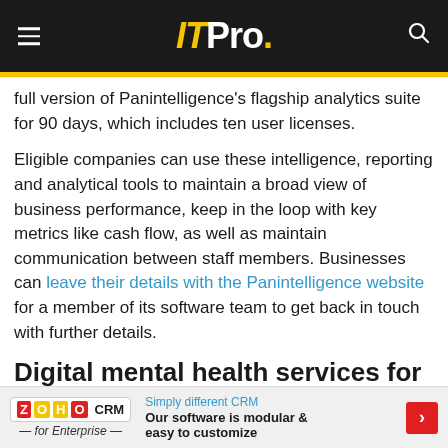IT Pro.
full version of Panintelligence's flagship analytics suite for 90 days, which includes ten user licenses.
Eligible companies can use these intelligence, reporting and analytical tools to maintain a broad view of business performance, keep in the loop with key metrics like cash flow, as well as maintain communication between staff members. Businesses can leave their details with the Panintelligence website for a member of its software team to get back in touch with further details.
Digital mental health services for the NHS – it's been a
[Figure (other): Zoho CRM advertisement banner: 'Simply different CRM – Our software is modular & easy to customize' with Zoho CRM for Enterprise logo and red arrow button.]